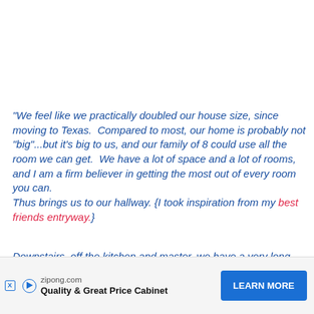"We feel like we practically doubled our house size, since moving to Texas.  Compared to most, our home is probably not "big"...but it's big to us, and our family of 8 could use all the room we can get.  We have a lot of space and a lot of rooms, and I am a firm believer in getting the most out of every room you can.
Thus brings us to our hallway. {I took inspiration from my best friends entryway.}
Downstairs, off the kitchen and master, we have a very long hallway that takes you to the bathroom and laundry room-- then ga[...] [icing it up.
[Figure (other): Advertisement banner: zipong.com — Quality & Great Price Cabinet — LEARN MORE button]